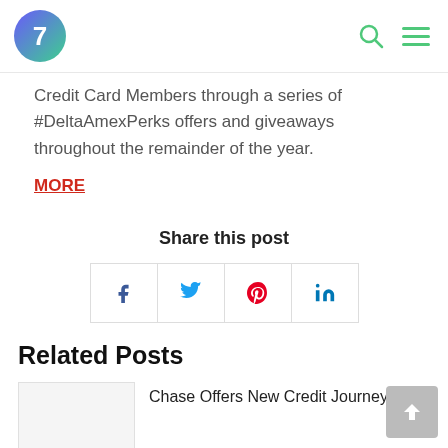7 [logo] [search icon] [menu icon]
Credit Card Members through a series of #DeltaAmexPerks offers and giveaways throughout the remainder of the year.
MORE
Share this post
[Figure (other): Social share buttons for Facebook, Twitter, Pinterest, and LinkedIn]
Related Posts
Chase Offers New Credit Journey